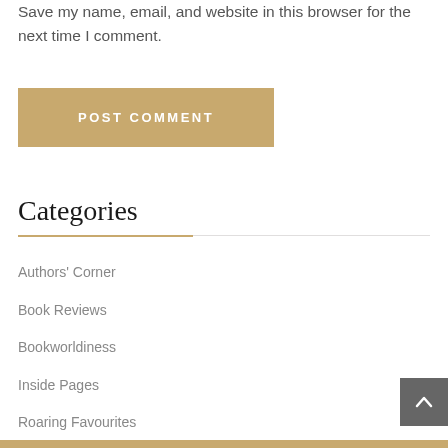Save my name, email, and website in this browser for the next time I comment.
POST COMMENT
Categories
Authors' Corner
Book Reviews
Bookworldiness
Inside Pages
Roaring Favourites
Store updates